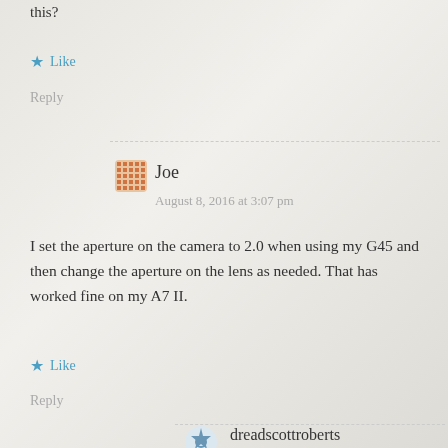this?
★ Like
Reply
Joe
August 8, 2016 at 3:07 pm
I set the aperture on the camera to 2.0 when using my G45 and then change the aperture on the lens as needed. That has worked fine on my A7 II.
★ Like
Reply
dreadscottroberts
August 8, 2016 at 3:50 pm